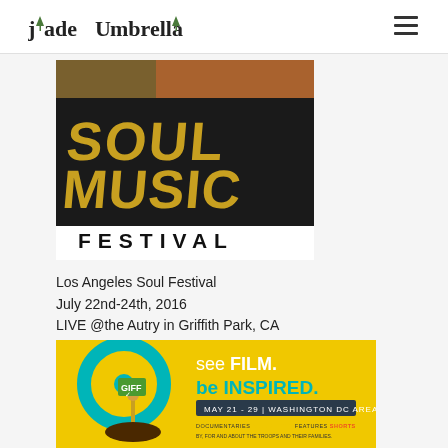jade umbrella
[Figure (illustration): Soul Music Festival logo/poster with large stylized gold block letters reading SOUL MUSIC FESTIVAL on dark background with festival imagery]
Los Angeles Soul Festival
July 22nd-24th, 2016
LIVE @the Autry in Griffith Park, CA
[Figure (illustration): GIFF festival ad: yellow background with teal film reel, figure holding GIFF flag, text 'see FILM. be INSPIRED. MAY 21-29 | WASHINGTON DC AREA. DOCUMENTARIES NARRATIVES FEATURES SHORTS. BY, FOR AND ABOUT THE TROOPS AND THEIR FAMILIES.']